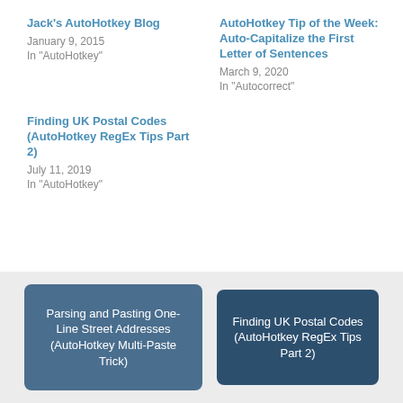Jack's AutoHotkey Blog
January 9, 2015
In "AutoHotkey"
AutoHotkey Tip of the Week: Auto-Capitalize the First Letter of Sentences
March 9, 2020
In "Autocorrect"
Finding UK Postal Codes (AutoHotkey RegEx Tips Part 2)
July 11, 2019
In "AutoHotkey"
Parsing and Pasting One-Line Street Addresses (AutoHotkey Multi-Paste Trick)
Finding UK Postal Codes (AutoHotkey RegEx Tips Part 2)